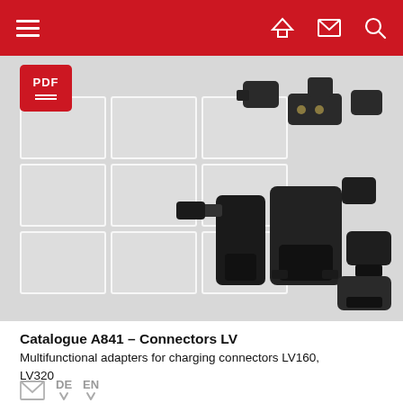Navigation bar with hamburger menu, home, mail, and search icons
[Figure (photo): Product photo of multifunctional adapters and charging connectors LV160/LV320 against grey background with white grid overlay on left side. PDF download badge visible top left.]
Catalogue A841 – Connectors LV
Multifunctional adapters for charging connectors LV160, LV320
DE EN (download links with arrows)